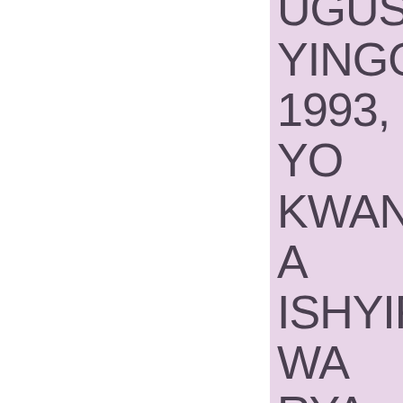UGUSHYINGO 1993, YO KWANGA ISHYIRWA RYA FAWUSTINI TWAGIR AMUNG